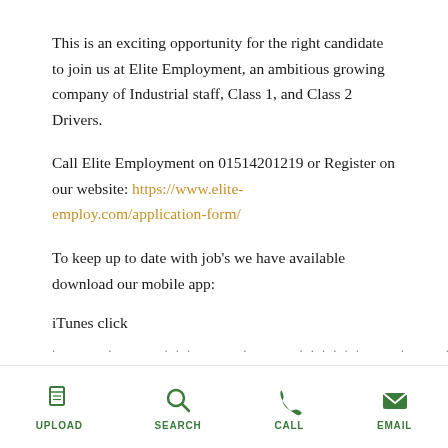This is an exciting opportunity for the right candidate to join us at Elite Employment, an ambitious growing company of Industrial staff, Class 1, and Class 2 Drivers.
Call Elite Employment on 01514201219 or Register on our website: https://www.elite-employ.com/application-form/
To keep up to date with job's we have available download our mobile app:
iTunes click
. . ... . ..... . ... ...
UPLOAD SEARCH CALL EMAIL